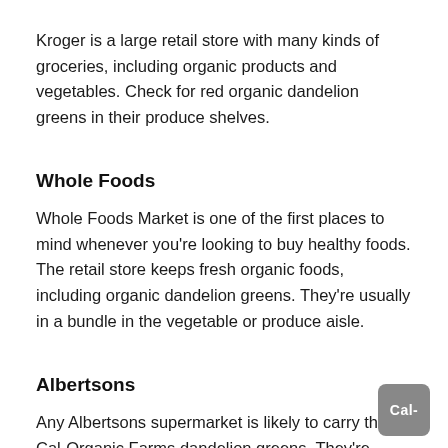Kroger is a large retail store with many kinds of groceries, including organic products and vegetables. Check for red organic dandelion greens in their produce shelves.
Whole Foods
Whole Foods Market is one of the first places to mind whenever you're looking to buy healthy foods. The retail store keeps fresh organic foods, including organic dandelion greens. They're usually in a bundle in the vegetable or produce aisle.
Albertsons
Any Albertsons supermarket is likely to carry the Cal-Organic Farms dandelion greens. They're placed as a bundle in the herbs section. You might consider